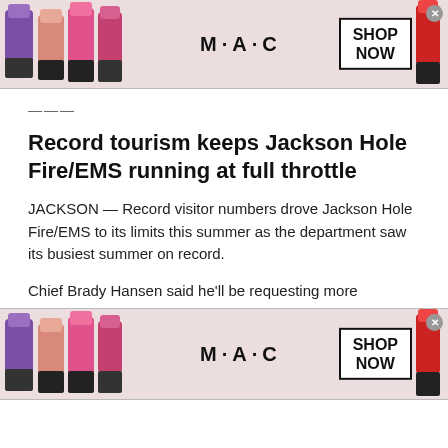[Figure (photo): MAC cosmetics advertisement banner at top showing lipsticks in purple, pink, hot pink colors on the left, MAC logo in center, SHOP NOW box on right with red lipstick]
___—
Record tourism keeps Jackson Hole Fire/EMS running at full throttle
JACKSON — Record visitor numbers drove Jackson Hole Fire/EMS to its limits this summer as the department saw its busiest summer on record.
Chief Brady Hansen said he'll be requesting more
[Figure (photo): MAC cosmetics advertisement banner at bottom showing lipsticks in purple, pink, hot pink colors on the left, MAC logo in center, SHOP NOW box on right with red lipstick]